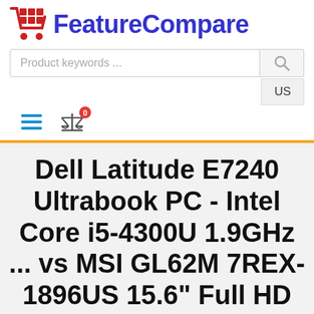FeatureCompare
Product keywords ...
US
Dell Latitude E7240 Ultrabook PC - Intel Core i5-4300U 1.9GHz ... vs MSI GL62M 7REX-1896US 15.6" Full HD Gaming Laptop